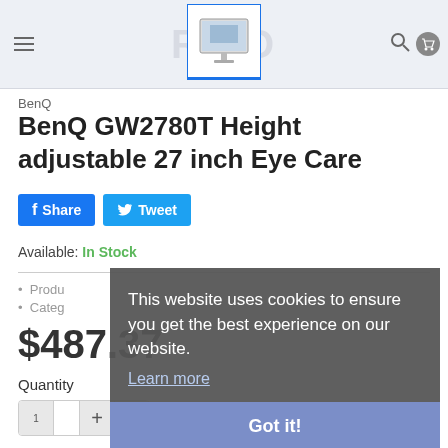[Figure (screenshot): Top navigation bar with hamburger menu, faded logo text, product monitor image thumbnail with blue underline border, search icon, and cart icon]
BenQ
BenQ GW2780T Height adjustable 27 inch Eye Care
[Figure (infographic): Facebook Share button (blue) and Twitter Tweet button (light blue)]
Available: In Stock
Produ[t cut off by overlay]
Categ[ory cut off by overlay]
$487.37
Quantity
1
This website uses cookies to ensure you get the best experience on our website.
Learn more
Got it!